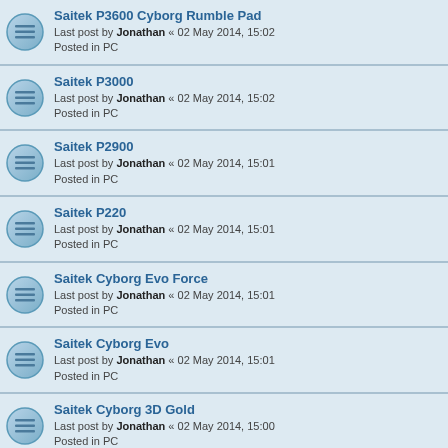Saitek P3600 Cyborg Rumble Pad
Last post by Jonathan « 02 May 2014, 15:02
Posted in PC
Saitek P3000
Last post by Jonathan « 02 May 2014, 15:02
Posted in PC
Saitek P2900
Last post by Jonathan « 02 May 2014, 15:01
Posted in PC
Saitek P220
Last post by Jonathan « 02 May 2014, 15:01
Posted in PC
Saitek Cyborg Evo Force
Last post by Jonathan « 02 May 2014, 15:01
Posted in PC
Saitek Cyborg Evo
Last post by Jonathan « 02 May 2014, 15:01
Posted in PC
Saitek Cyborg 3D Gold
Last post by Jonathan « 02 May 2014, 15:00
Posted in PC
Razer Nostromo
Last post by Jonathan « 02 May 2014, 15:00
Posted in PC
Rainbow Gamepad Vibration P0700 - RT010
Last post by Jonathan « 02 May 2014, 15:00
Xpadder.com uses cookies for function and statistics. There are no adverts Ok